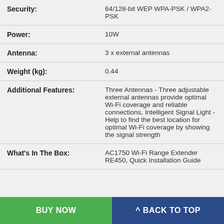| Attribute | Value |
| --- | --- |
| Security: | 64/128-bit WEP WPA-PSK / WPA2-PSK |
| Power: | 10W |
| Antenna: | 3 x external antennas |
| Weight (kg): | 0.44 |
| Additional Features: | Three Antennas - Three adjustable external antennas provide optimal Wi-Fi coverage and reliable connections, Intelligent Signal Light - Help to find the best location for optimal Wi-Fi coverage by showing the signal strength |
| What's In The Box: | AC1750 Wi-Fi Range Extender RE450, Quick Installation Guide |
BUY NOW
^ BACK TO TOP